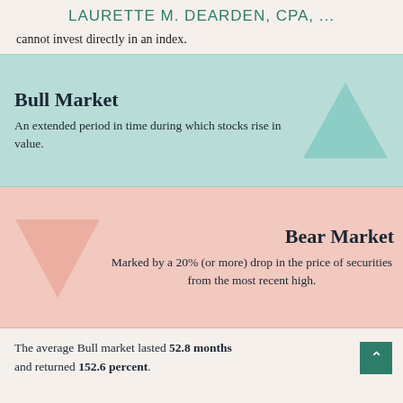LAURETTE M. DEARDEN, CPA, ...
cannot invest directly in an index.
Bull Market
An extended period in time during which stocks rise in value.
[Figure (illustration): Upward-pointing triangle in light teal/blue color, representing Bull Market]
Bear Market
Marked by a 20% (or more) drop in the price of securities from the most recent high.
[Figure (illustration): Downward-pointing triangle in light salmon/pink color, representing Bear Market]
The average Bull market lasted 52.8 months and returned 152.6 percent.